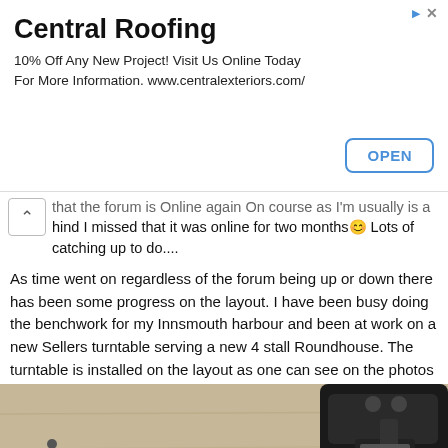[Figure (screenshot): Advertisement banner for Central Roofing with title, body text, and OPEN button]
that the forum is online again On course as I'm usually is a hind I missed that it was online for two months 😀 Lots of catching up to do....
As time went on regardless of the forum being up or down there has been some progress on the layout. I have been busy doing the benchwork for my Innsmouth harbour and been at work on a new Sellers turntable serving a new 4 stall Roundhouse. The turntable is installed on the layout as one can see on the photos below.
[Figure (photo): Photo of a model railway turntable installed on a cork/wood baseboard, with a staple gun and metal ruler visible in the background. The turntable shows a circular track with a bridge crossing it.]